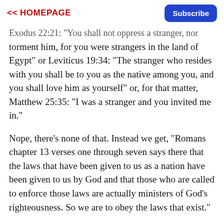<< HOMEPAGE | Subscribe
Exodus 22:21: "You shall not oppress a stranger, nor torment him, for you were strangers in the land of Egypt" or Leviticus 19:34: "The stranger who resides with you shall be to you as the native among you, and you shall love him as yourself" or, for that matter, Matthew 25:35: "I was a stranger and you invited me in."
Nope, there's none of that. Instead we get, "Romans chapter 13 verses one through seven says there that the laws that have been given to us as a nation have been given to us by God and that those who are called to enforce those laws are actually ministers of God's righteousness. So we are to obey the laws that exist."